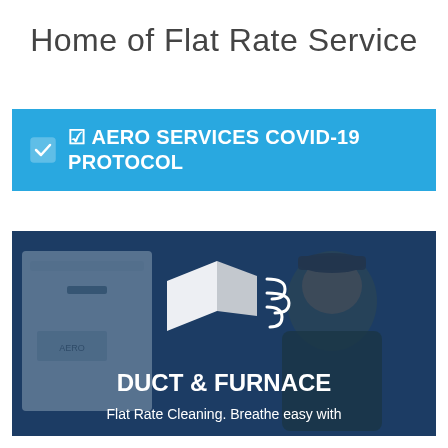Home of Flat Rate Service
☑ AERO SERVICES COVID-19 PROTOCOL
[Figure (photo): A technician in dark clothing and cap working near an HVAC/furnace unit, with a blue overlay tint. A duct and wind icon is overlaid in white in the center of the image.]
DUCT & FURNACE
Flat Rate Cleaning. Breathe easy with